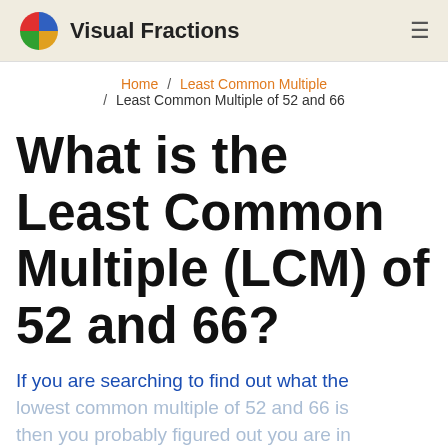Visual Fractions
Home / Least Common Multiple / Least Common Multiple of 52 and 66
What is the Least Common Multiple (LCM) of 52 and 66?
If you are searching to find out what the lowest common multiple of 52 and 66 is then you probably figured out you are in